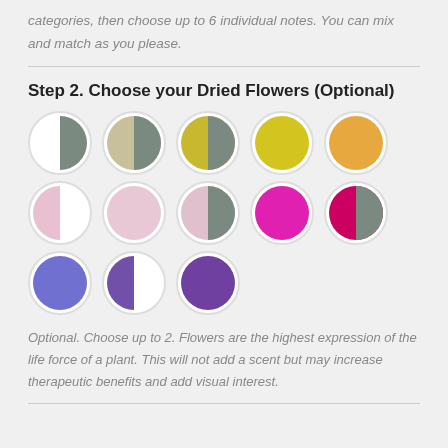categories, then choose up to 6 individual notes. You can mix and match as you please.
Step 2. Choose your Dried Flowers (Optional)
[Figure (illustration): Grid of 13 circular color swatches arranged in 3 rows showing dried flower color options. Row 1: white/grey half-circle, beige/grey half-circle, yellow-green/grey half-circle, solid yellow circle, solid orange circle. Row 2: white/light-pink half-circle, solid light pink circle, light-pink/grey half-circle, solid magenta circle, hot-pink/grey half-circle. Row 3: solid blue/periwinkle circle, purple/white half-circle, solid dark purple circle.]
Optional. Choose up to 2. Flowers are the highest expression of the life force of a plant. This will not add a scent but may increase therapeutic benefits and add visual interest.